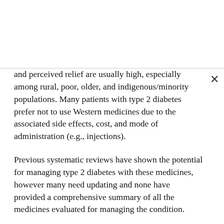and perceived relief are usually high, especially among rural, poor, older, and indigenous/minority populations. Many patients with type 2 diabetes prefer not to use Western medicines due to the associated side effects, cost, and mode of administration (e.g., injections).
Previous systematic reviews have shown the potential for managing type 2 diabetes with these medicines, however many need updating and none have provided a comprehensive summary of all the medicines evaluated for managing the condition.
As part of this review, the team searched a range of sources, including 18 electronic databases. Two hundred and nineteen articles were included in the review, which represented 199 randomised controlled trials (21,191 participants) and 98 Ayurvedic medicines.